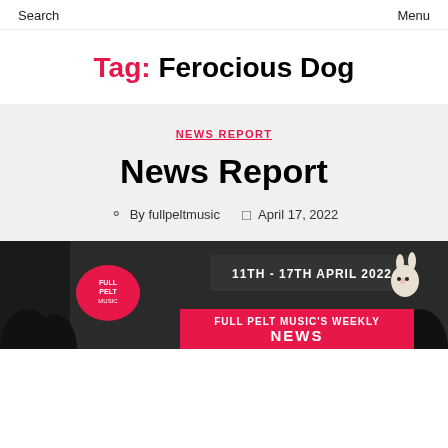Search   Menu
Tag: Ferocious Dog
NEWS REPORT
News Report
By fullpeltmusic   April 17, 2022
[Figure (photo): Full Pelt Music weekly news report banner image for 11th - 17th April 2022, with red and dark background, Full Pelt Music logo, easter bunny graphic, and text 'FULL PELT MUSIC'S WEEKLY NEWS']